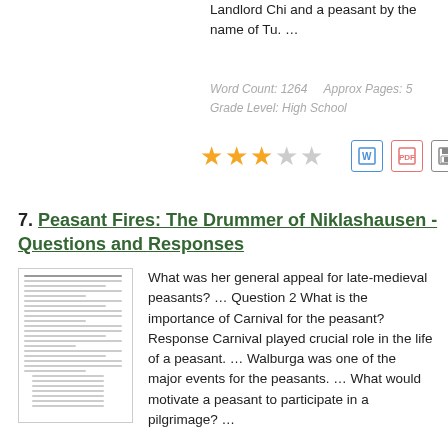Landlord Chi and a peasant by the name of Tu. …
Word Count: 1264    Approx Pages: 5
Grade Level: High School
[Figure (other): 3 filled gold stars, 2 empty stars rating, plus Word doc, PDF, and save icons]
7. Peasant Fires: The Drummer of Niklashausen - Questions and Responses
[Figure (other): Thumbnail of a text document page]
What was her general appeal for late-medieval peasants? … Question 2 What is the importance of Carnival for the peasant? Response Carnival played crucial role in the life of a peasant. … Walburga was one of the major events for the peasants. … What would motivate a peasant to participate in a pilgrimage? …